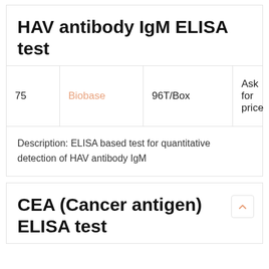HAV antibody IgM ELISA test
|  |  |  |  |
| --- | --- | --- | --- |
| 75 | Biobase | 96T/Box | Ask for price |
Description: ELISA based test for quantitative detection of HAV antibody IgM
CEA (Cancer antigen) ELISA test